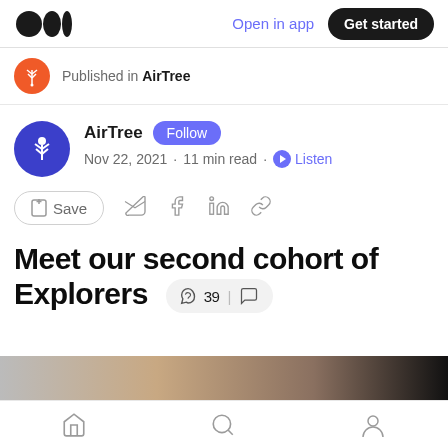Open in app | Get started
Published in AirTree
AirTree · Follow · Nov 22, 2021 · 11 min read · Listen
Save
Meet our second cohort of Explorers
39 claps, comments
Home | Search | Profile